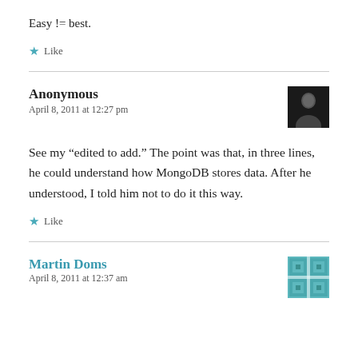Easy != best.
Like
Anonymous
April 8, 2011 at 12:27 pm
See my “edited to add.” The point was that, in three lines, he could understand how MongoDB stores data. After he understood, I told him not to do it this way.
Like
Martin Doms
April 8, 2011 at 12:37 am